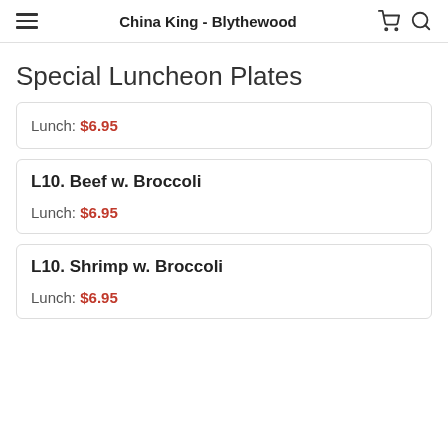China King - Blythewood
Special Luncheon Plates
Lunch: $6.95
L10. Beef w. Broccoli
Lunch: $6.95
L10. Shrimp w. Broccoli
Lunch: $6.95